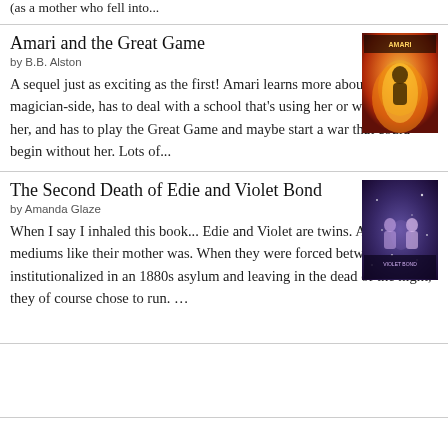(as a mother who fell into...
Amari and the Great Game
by B.B. Alston
A sequel just as exciting as the first! Amari learns more about her magician-side, has to deal with a school that's using her or will turn on her, and has to play the Great Game and maybe start a war that could begin without her. Lots of...
[Figure (illustration): Book cover of Amari and the Great Game]
The Second Death of Edie and Violet Bond
by Amanda Glaze
When I say I inhaled this book... Edie and Violet are twins. And mediums like their mother was. When they were forced between being institutionalized in an 1880s asylum and leaving in the dead of the night, they of course chose to run. ...
[Figure (illustration): Book cover of The Second Death of Edie and Violet Bond]